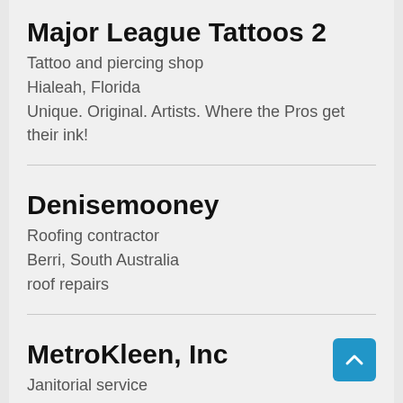Major League Tattoos 2
Tattoo and piercing shop
Hialeah, Florida
Unique. Original. Artists. Where the Pros get their ink!
Denisemooney
Roofing contractor
Berri, South Australia
roof repairs
MetroKleen, Inc
Janitorial service